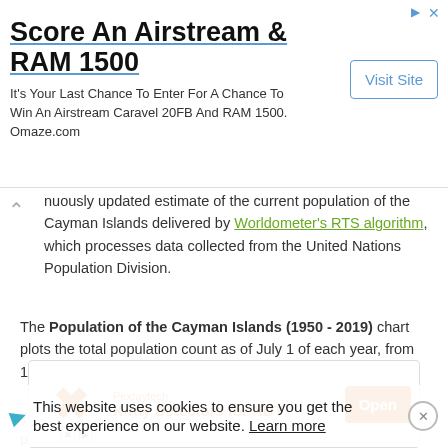[Figure (screenshot): Top advertisement banner: Score An Airstream & RAM 1500 with Visit Site button]
nuously updated estimate of the current population of the Cayman Islands delivered by Worldometer's RTS algorithm, which processes data collected from the United Nations Population Division.
The Population of the Cayman Islands (1950 - 2019) chart plots the total population count as of July 1 of each year, from 1950 to 2019.
The Yearly Population Growth Rate chart plots the annual percentage changes in population registered on July 1 of each year, from 1951 to 2019. This value can differ from the Yearly % ... the last year
This website uses cookies to ensure you get the best experience on our website. Learn more
[Figure (screenshot): Bottom advertisement: Pexraytech X-ray Detectors for NDT with Open button]